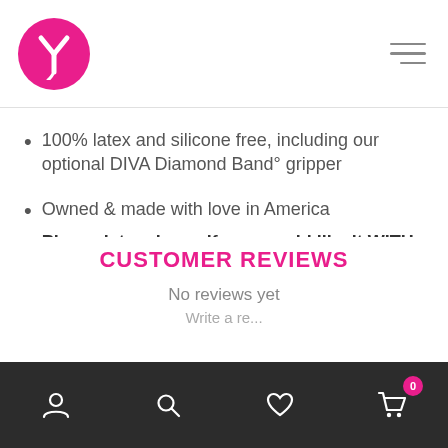Logo and navigation header
100% latex and silicone free, including our optional DIVA Diamond Band° gripper
Owned & made with love in America
Please let us know if you would like it WITH or WITHOUT the Diva Diamond Band at checkout
CUSTOMER REVIEWS
No reviews yet
Account, Search, Wishlist, Cart (0)